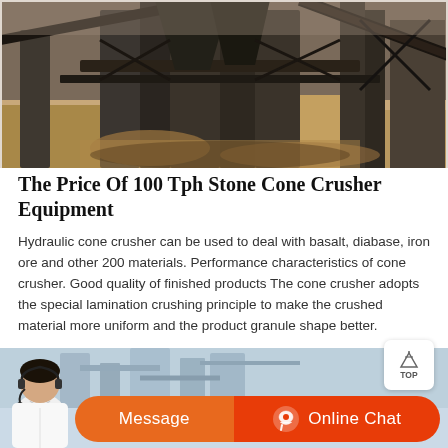[Figure (photo): Industrial stone crusher equipment facility showing large metal structural supports, conveyor belts, and sandy/rocky ground at a quarry or mining site]
The Price Of 100 Tph Stone Cone Crusher Equipment
Hydraulic cone crusher can be used to deal with basalt, diabase, iron ore and other 200 materials. Performance characteristics of cone crusher. Good quality of finished products The cone crusher adopts the special lamination crushing principle to make the crushed material more uniform and the product granule shape better.
[Figure (photo): Bottom section showing industrial equipment in background with a customer service representative (woman with headset) on the left, and two orange buttons: Message and Online Chat]